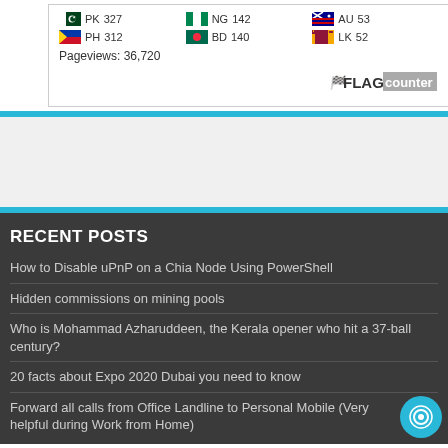[Figure (infographic): Flag counter widget showing country visit counts: PK 327, NG 142, AU 53, PH 312, BD 140, LK 52. Pageviews: 36,720. FLAG counter logo at bottom right.]
RECENT POSTS
How to Disable uPnP on a Chia Node Using PowerShell
Hidden commissions on mining pools
Who is Mohammad Azharuddeen, the Kerala opener who hit a 37-ball century?
20 facts about Expo 2020 Dubai you need to know
Forward all calls from Office Landline to Personal Mobile (Very helpful during Work from Home)